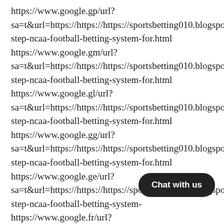https://www.google.gp/url?
sa=t&url=https://https://https://sportsbetting010.blogspot.step-ncaa-football-betting-system-for.html
https://www.google.gm/url?
sa=t&url=https://https://https://sportsbetting010.blogspot.step-ncaa-football-betting-system-for.html
https://www.google.gl/url?
sa=t&url=https://https://https://sportsbetting010.blogspot.step-ncaa-football-betting-system-for.html
https://www.google.gg/url?
sa=t&url=https://https://https://sportsbetting010.blogspot.step-ncaa-football-betting-system-for.html
https://www.google.ge/url?
sa=t&url=https://https://https://sportsbetting010.blogspot.step-ncaa-football-betting-system-for.html
https://www.google.fr/url?
sa=t&url=https://https://https://sportsbetting010.blogspot.